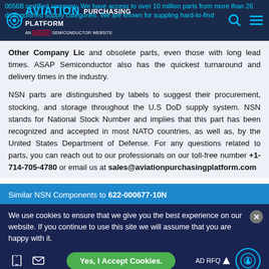Aviation Purchasing Platform - AN A.S.A.P Semiconductor Website
0056B certified company. We have access to over 10 million parts from more than 26 distinguished supply categories. We are known for suppling hard-to-find Other Company Lic and obsolete parts, even those with long lead times. ASAP Semiconductor also has the quickest turnaround and delivery times in the industry.
NSN parts are distinguished by labels to suggest their procurement, stocking, and storage throughout the U.S DoD supply system. NSN stands for National Stock Number and implies that this part has been recognized and accepted in most NATO countries, as well as, by the United States Department of Defense. For any questions related to parts, you can reach out to our professionals on our toll-free number +1-714-705-4780 or email us at sales@aviationpurchasingplatform.com
Similar NSN Components to 622-000677-10N
We use cookies to ensure that we give you the best experience on our website. If you continue to use this site we will assume that you are happy with it.